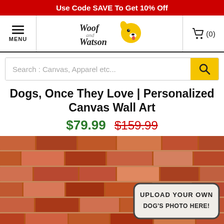Use Code SAVE To Get 10% Off
[Figure (logo): Woof and Watson brand logo with cartoon dog head illustration, stylized handwritten text]
Search : Canvas, Apparel etc...
Dogs, Once They Love | Personalized Canvas Wall Art
$79.99  $159.99
[Figure (photo): Brick wall background with a badge overlay reading UPLOAD YOUR OWN DOG'S PHOTO HERE!]